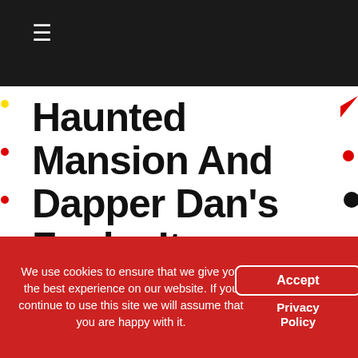≡
Haunted Mansion And Dapper Dan's Funko Items
August 13, 2019   Scott   1 Comment   D23 Expo, Dapper Dans, Disneyland, Exclusive, Ezra, Funko, Gus, Haunted Mansion, Madame Leota, Pop!
The big news last week was the release of the new Haunted Mansion Funko Pop! series.  The Glow in the Dark Madame Leota was released at both Disneyland and Walt Disney World and sold out
We use cookies to ensure that we give you the best experience on our website. If you continue to use this site we will assume that you are happy with it.